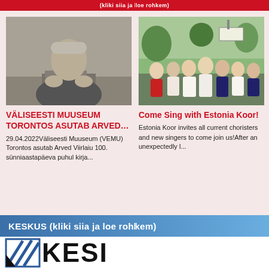(kliki siia ja loe rohkem)
[Figure (photo): Black and white photo of a man sitting at a desk with his hands on his face, books and papers in front of him]
[Figure (photo): Color photo of a group of people in traditional Estonian folk costumes outdoors]
VÄLISEESTI MUUSEUM TORONTOS ASUTAB ARVED…
29.04.2022Väliseesti Muuseum (VEMU) Torontos asutab Arved Viirlaiu 100. sünniaastapäeva puhul kirja...
Come Sing with Estonia Koor!
Estonia Koor invites all current choristers and new singers to come join us!After an unexpectedly l...
KESKUS (kliki siia ja loe rohkem)
[Figure (logo): KESKI logo with diagonal stripe graphic mark in blue and black, large bold letters KESI partially visible]